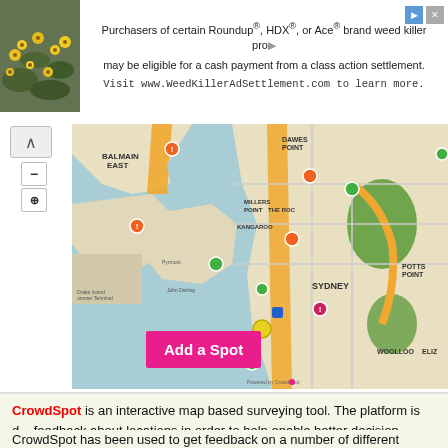[Figure (photo): Advertisement banner with yellow flowers photo on left, text about Roundup/HDX/Ace brand weed killer class action settlement. Visit www.WeedKillerAdSettlement.com to learn more.]
[Figure (map): CrowdSpot interactive map showing Sydney, Australia area including Balmain East, Dawes Point, Millers Point, The Rocks, Kangaroo, Potts Point, Woolloomooloo areas with colored map pins and an 'Add a Spot' button in pink/magenta.]
CrowdSpot is an interactive map based surveying tool. The platform is designed to collect feedback about locations in order to help enable better decision making. The platform can be customized to enable users to identify locations or to get them to vote ab...
CrowdSpot has been used to get feedback on a number of different issues, including to identify locations where cyclists feel unsafe, to identify where transportation could be improved or to get citizen feedback on city transit plans. It has also been used by women's groups to identify locations where women feel safe and unsafe.